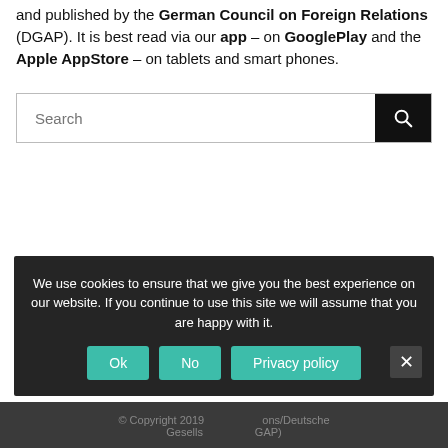and published by the German Council on Foreign Relations (DGAP). It is best read via our app – on GooglePlay and the Apple AppStore – on tablets and smart phones.
Search
© Copyright 2019 ... Deutsche Gesellschaft ... (DGAP)
We use cookies to ensure that we give you the best experience on our website. If you continue to use this site we will assume that you are happy with it.